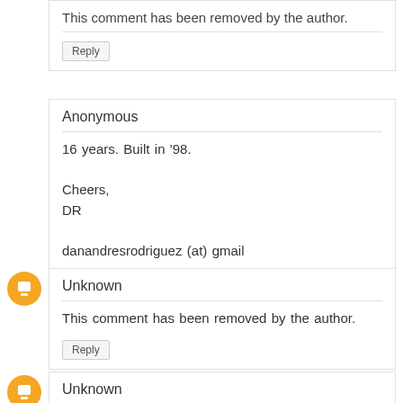This comment has been removed by the author.
Reply
Anonymous
16 years. Built in '98.

Cheers,
DR

danandresrodriguez (at) gmail
Reply
Unknown
This comment has been removed by the author.
Reply
Unknown